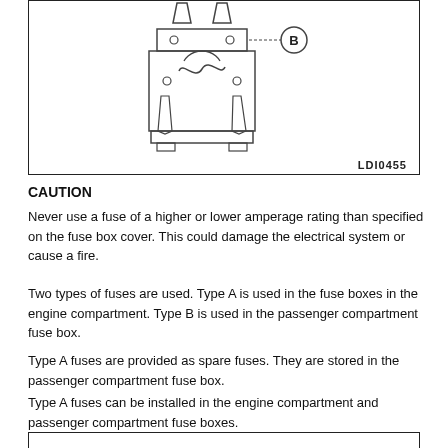[Figure (schematic): Technical diagram of a Type B fuse (LDI0455). Shows a fuse component viewed from above with two prongs at the top, a rectangular body with circles and wavy internal element, and a callout label 'B' pointing to the body with a dashed line.]
CAUTION
Never use a fuse of a higher or lower amperage rating than specified on the fuse box cover. This could damage the electrical system or cause a fire.
Two types of fuses are used. Type A is used in the fuse boxes in the engine compartment. Type B is used in the passenger compartment fuse box.
Type A fuses are provided as spare fuses. They are stored in the passenger compartment fuse box.
Type A fuses can be installed in the engine compartment and passenger compartment fuse boxes.